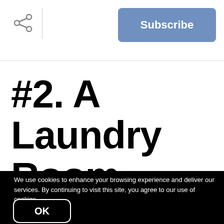Subscribe
#2. A Laundry Room
We use cookies to enhance your browsing experience and deliver our services. By continuing to visit this site, you agree to our use of cookies. More info
OK